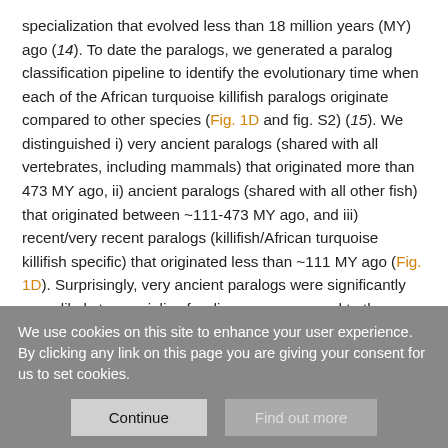specialization that evolved less than 18 million years (MY) ago (14). To date the paralogs, we generated a paralog classification pipeline to identify the evolutionary time when each of the African turquoise killifish paralogs originate compared to other species (Fig. 1D and fig. S2) (15). We distinguished i) very ancient paralogs (shared with all vertebrates, including mammals) that originated more than 473 MY ago, ii) ancient paralogs (shared with all other fish) that originated between ~111-473 MY ago, and iii) recent/very recent paralogs (killifish/African turquoise killifish specific) that originated less than ~111 MY ago (Fig. 1D). Surprisingly, very ancient paralogs were significantly more likely to specialize for diapause compared to the genome-wide
We use cookies on this site to enhance your user experience. By clicking any link on this page you are giving your consent for us to set cookies.